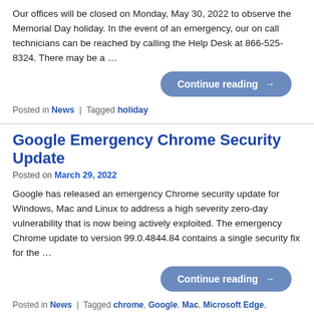Our offices will be closed on Monday, May 30, 2022 to observe the Memorial Day holiday. In the event of an emergency, our on call technicians can be reached by calling the Help Desk at 866-525-8324. There may be a …
Continue reading →
Posted in News | Tagged holiday
Google Emergency Chrome Security Update
Posted on March 29, 2022
Google has released an emergency Chrome security update for Windows, Mac and Linux to address a high severity zero-day vulnerability that is now being actively exploited. The emergency Chrome update to version 99.0.4844.84 contains a single security fix for the …
Continue reading →
Posted in News | Tagged chrome, Google, Mac, Microsoft Edge,